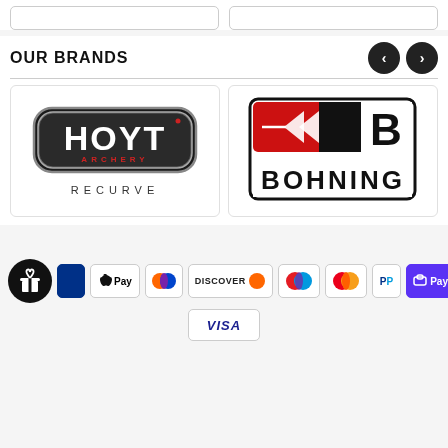OUR BRANDS
[Figure (logo): Hoyt Archery Recurve logo - silver and black oval badge with HOYT text and ARCHERY RECURVE below]
[Figure (logo): Bohning logo - red and black square logo with arrow/dart chevron graphic and BOHNING text]
[Figure (logo): Gift/rewards icon button - black circle with white gift box icon]
[Figure (logo): Payment method logos: Apple Pay, Diners Club, Discover, Maestro, Mastercard, PayPal, ShopPay, Visa]